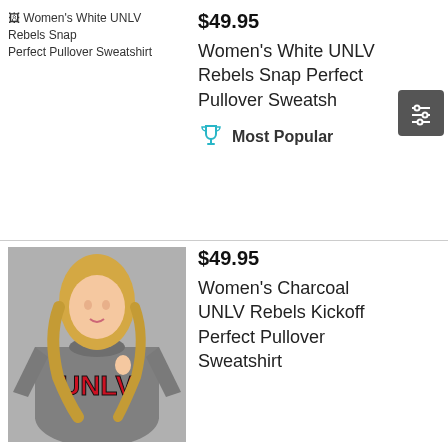[Figure (photo): Broken image placeholder for Women's White UNLV Rebels Snap Perfect Pullover Sweatshirt]
$49.95
Women's White UNLV Rebels Snap Perfect Pullover Sweatshirt
Most Popular
[Figure (photo): Woman wearing charcoal UNLV pullover sweatshirt]
$49.95
Women's Charcoal UNLV Rebels Kickoff Perfect Pullover Sweatshirt